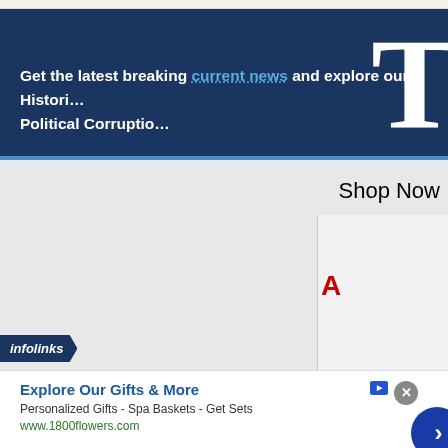T
Get the latest breaking current news and explore our Historic Political Corruption
Shop Now
[Figure (screenshot): Gray content area with a right-side white/light box showing a red letter A, partially visible advertisement region]
infolinks
Explore Our Gifts & More
Personalized Gifts - Spa Baskets - Get Sets
www.1800flowers.com